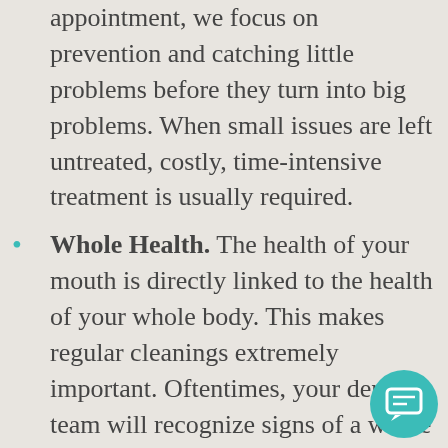appointment, we focus on prevention and catching little problems before they turn into big problems. When small issues are left untreated, costly, time-intensive treatment is usually required.
Whole Health. The health of your mouth is directly linked to the health of your whole body. This makes regular cleanings extremely important. Oftentimes, your dental team will recognize signs of a whole body issue first, which means treatment can start soon. The earlier we start treatment, the more successful it can be.
Oral Cancer. Cancer is a scary word, but oral cancer doesn't have to be. When caught early, oral cancer is very treatable,